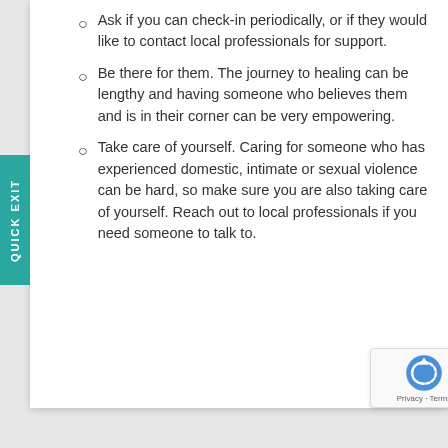Ask if you can check-in periodically, or if they would like to contact local professionals for support.
Be there for them. The journey to healing can be lengthy and having someone who believes them and is in their corner can be very empowering.
Take care of yourself. Caring for someone who has experienced domestic, intimate or sexual violence can be hard, so make sure you are also taking care of yourself. Reach out to local professionals if you need someone to talk to.